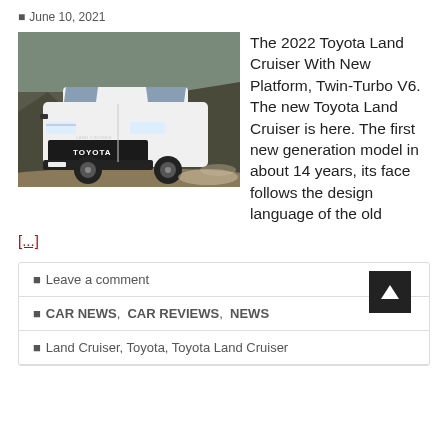June 10, 2021
[Figure (photo): White 2022 Toyota Land Cruiser SUV photographed from the front-left angle on a dirt road with rocky terrain in the background.]
The 2022 Toyota Land Cruiser With New Platform, Twin-Turbo V6. The new Toyota Land Cruiser is here. The first new generation model in about 14 years, its face follows the design language of the old [...]
Leave a comment
CAR NEWS, CAR REVIEWS, NEWS
Land Cruiser, Toyota, Toyota Land Cruiser